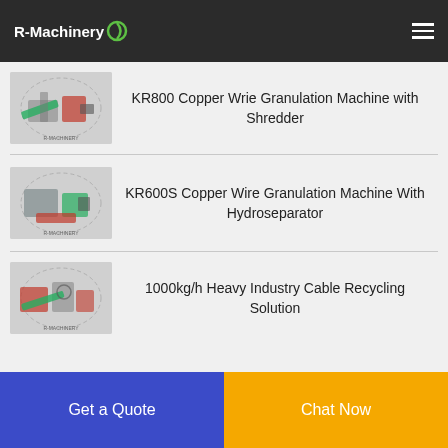R-Machinery
[Figure (photo): KR800 Copper Wire Granulation Machine with Shredder product image]
KR800 Copper Wrie Granulation Machine with Shredder
[Figure (photo): KR600S Copper Wire Granulation Machine With Hydroseparator product image]
KR600S Copper Wire Granulation Machine With Hydroseparator
[Figure (photo): 1000kg/h Heavy Industry Cable Recycling Solution product image]
1000kg/h Heavy Industry Cable Recycling Solution
Get a Quote
Chat Now